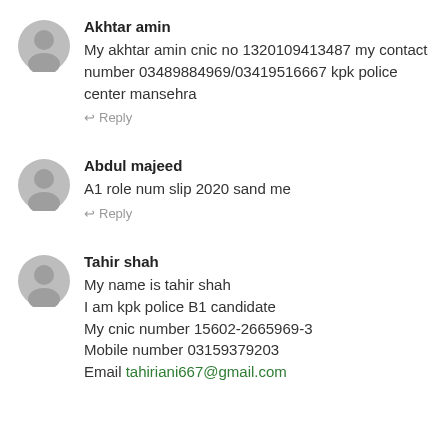[Figure (other): Gray circular user avatar icon]
Akhtar amin
My akhtar amin cnic no 1320109413487 my contact number 03489884969/03419516667 kpk police center mansehra
↩ Reply
[Figure (other): Gray circular user avatar icon]
Abdul majeed
A1 role num slip 2020 sand me
↩ Reply
[Figure (other): Gray circular user avatar icon]
Tahir shah
My name is tahir shah
I am kpk police B1 candidate
My cnic number 15602-2665969-3
Mobile number 03159379203
Email tahiriani667@gmail.com